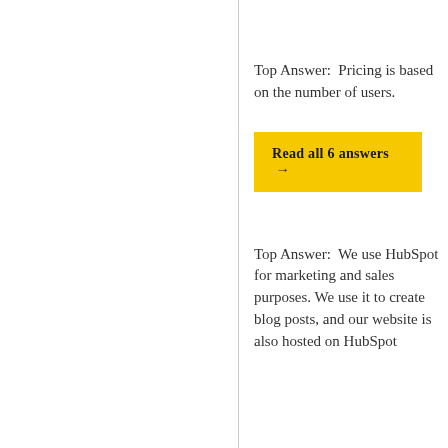Top Answer:  Pricing is based on the number of users.
Read all 6 answers →
Top Answer:  We use HubSpot for marketing and sales purposes. We use it to create blog posts, and our website is also hosted on HubSpot